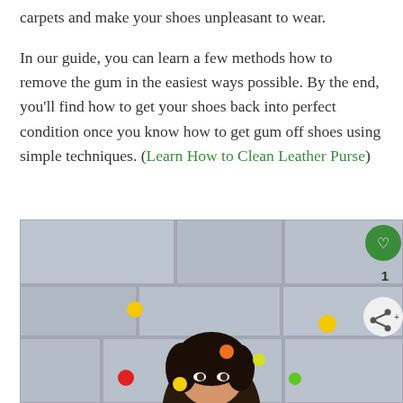carpets and make your shoes unpleasant to wear.
In our guide, you can learn a few methods how to remove the gum in the easiest ways possible. By the end, you’ll find how to get your shoes back into perfect condition once you know how to get gum off shoes using simple techniques. (Learn How to Clean Leather Purse)
[Figure (photo): A woman with dark hair looking up at colorful candy/gum pieces floating in the air, standing in front of a stone wall background. UI elements: a green heart/like button, like count '1', and a share button.]